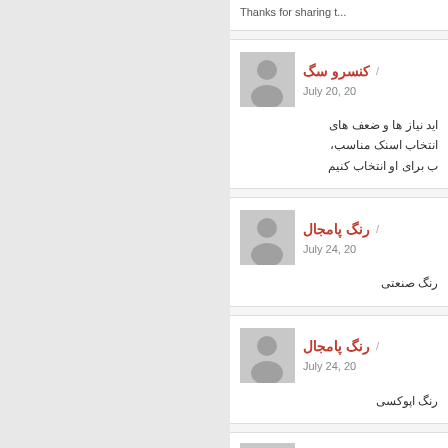Thanks for sharing t...
کنسرو سگ / July 20, 20
اید نیاز ها و ضعف های انتخاب اسنک مناسب، ب برای او انتخاب کنیم
رنگ پامجال / July 24, 20
رنگ صنعتی
رنگ پامجال / July 24, 20
رنگ اپوکسی